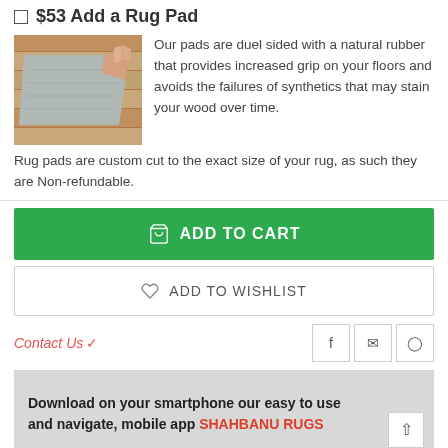$53 Add a Rug Pad
[Figure (photo): Hand peeling back corner of a gray rug pad on a wood floor]
Our pads are duel sided with a natural rubber that provides increased grip on your floors and avoids the failures of synthetics that may stain your wood over time.
Rug pads are custom cut to the exact size of your rug, as such they are Non-refundable.
ADD TO CART
ADD TO WISHLIST
Contact Us
Download on your smartphone our easy to use and navigate, mobile app SHAHBANU RUGS